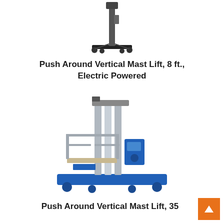[Figure (photo): Push Around Vertical Mast Lift, 8 ft., Electric Powered — a compact, tall narrow vertical mast lift with black frame and small wheeled base]
Push Around Vertical Mast Lift, 8 ft., Electric Powered
[Figure (photo): Push Around Vertical Mast Lift, 35 ft. — a larger vertical mast lift with blue base, silver mast, and open platform basket]
Push Around Vertical Mast Lift, 35